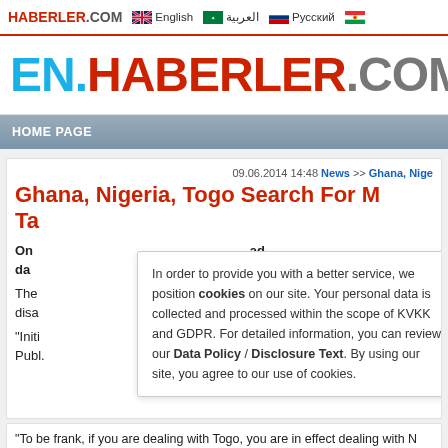HABERLER.COM | English | العربية | Русский
[Figure (logo): EN.HABERLER.COM logo with EN in blue, HABERLER in red, .COM in gray]
HOME PAGE
09.06.2014 14:48 News >> Ghana, Nige
Ghana, Nigeria, Togo Search For Ta
On da ad
The ation disa
"Initi aid i Publ. old A
"To be frank, if you are dealing with Togo, you are in effect dealing with N sharing information," he added.
In order to provide you with a better service, we position cookies on our site. Your personal data is collected and processed within the scope of KVKK and GDPR. For detailed information, you can review our Data Policy / Disclosure Text. By using our site, you agree to our use of cookies.